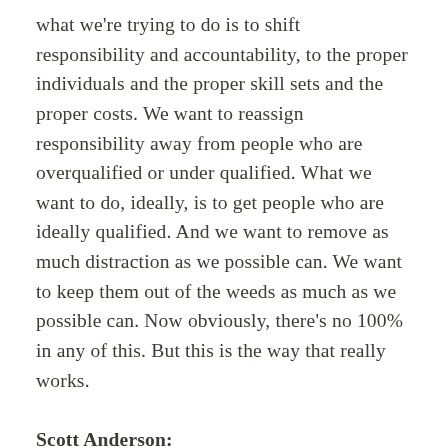what we're trying to do is to shift responsibility and accountability, to the proper individuals and the proper skill sets and the proper costs. We want to reassign responsibility away from people who are overqualified or under qualified. What we want to do, ideally, is to get people who are ideally qualified. And we want to remove as much distraction as we possible can. We want to keep them out of the weeds as much as we possible can. Now obviously, there's no 100% in any of this. But this is the way that really works.
Scott Anderson:
As you know, Lauren, I coach a lot of advertising agencies in particular, because I